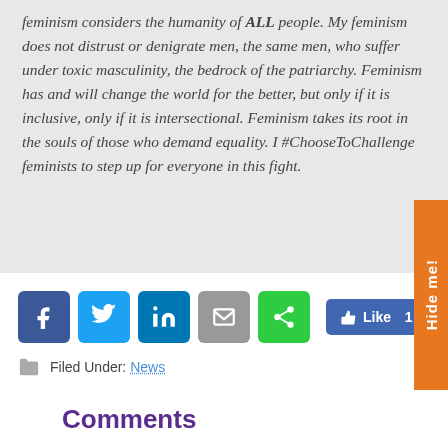feminism considers the humanity of ALL people. My feminism does not distrust or denigrate men, the same men, who suffer under toxic masculinity, the bedrock of the patriarchy. Feminism has and will change the world for the better, but only if it is inclusive, only if it is intersectional. Feminism takes its root in the souls of those who demand equality. I #ChooseToChallenge feminists to step up for everyone in this fight.
[Figure (other): Social media share buttons: Facebook, Twitter, LinkedIn, Email, Share, and a Facebook Like button showing 1 like. An orange 'Hide me!' tab on the right side.]
Filed Under: News
Comments